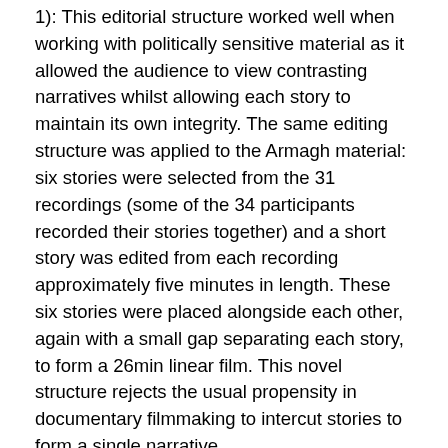1): This editorial structure worked well when working with politically sensitive material as it allowed the audience to view contrasting narratives whilst allowing each story to maintain its own integrity. The same editing structure was applied to the Armagh material: six stories were selected from the 31 recordings (some of the 34 participants recorded their stories together) and a short story was edited from each recording approximately five minutes in length. These six stories were placed alongside each other, again with a small gap separating each story, to form a 26min linear film. This novel structure rejects the usual propensity in documentary filmmaking to intercut stories to form a single narrative.
Following the principle of inclusivity that drove the PMA, I decided to include women's experiences from multiple perspectives, including former political